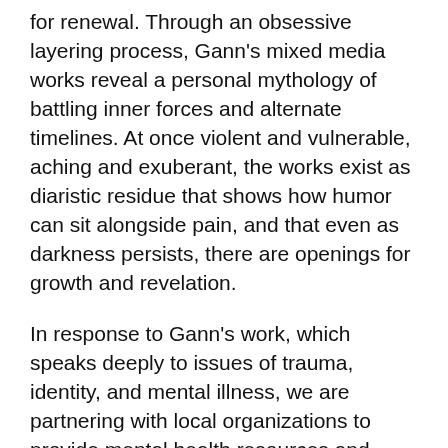for renewal. Through an obsessive layering process, Gann's mixed media works reveal a personal mythology of battling inner forces and alternate timelines. At once violent and vulnerable, aching and exuberant, the works exist as diaristic residue that shows how humor can sit alongside pain, and that even as darkness persists, there are openings for growth and revelation.
In response to Gann's work, which speaks deeply to issues of trauma, identity, and mental illness, we are partnering with local organizations to provide mental health resources and promote dialogue around these important issues. By opening up a conversation, the artist and Scalehouse seek to combat shame and isolation, normalize help-seeking, and celebrate creative expression as a tool for healing.